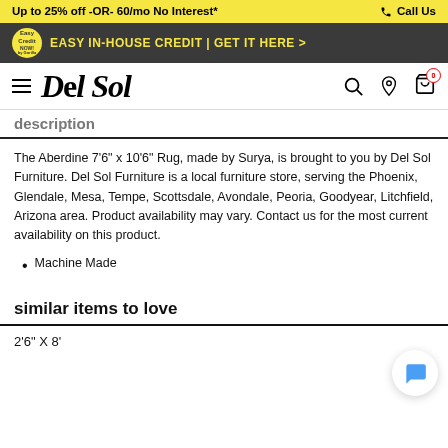Up to 25% off -OR- 60/mo No Interest* | Call Us
EASY IN-HOUSE CREDIT | GET IT HERE >
DEL SOL (logo with navigation icons)
description
The Aberdine 7'6" x 10'6" Rug, made by Surya, is brought to you by Del Sol Furniture. Del Sol Furniture is a local furniture store, serving the Phoenix, Glendale, Mesa, Tempe, Scottsdale, Avondale, Peoria, Goodyear, Litchfield, Arizona area. Product availability may vary. Contact us for the most current availability on this product.
Machine Made
similar items to love
2'6" X 8'